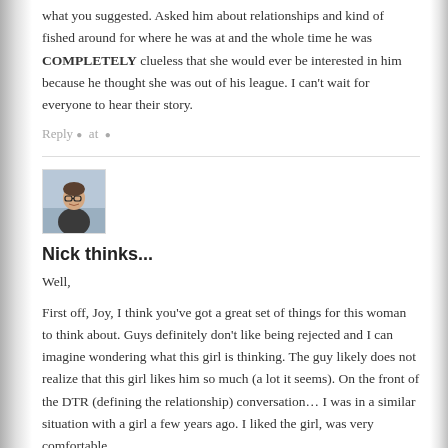what you suggested. Asked him about relationships and kind of fished around for where he was at and the whole time he was COMPLETELY clueless that she would ever be interested in him because he thought she was out of his league. I can't wait for everyone to hear their story.
Reply • at •
[Figure (photo): Profile photo of a young man wearing glasses and a dark turtleneck, outdoors near water.]
Nick thinks...
Well,
First off, Joy, I think you've got a great set of things for this woman to think about. Guys definitely don't like being rejected and I can imagine wondering what this girl is thinking. The guy likely does not realize that this girl likes him so much (a lot it seems). On the front of the DTR (defining the relationship) conversation… I was in a similar situation with a girl a few years ago. I liked the girl, was very comfortable